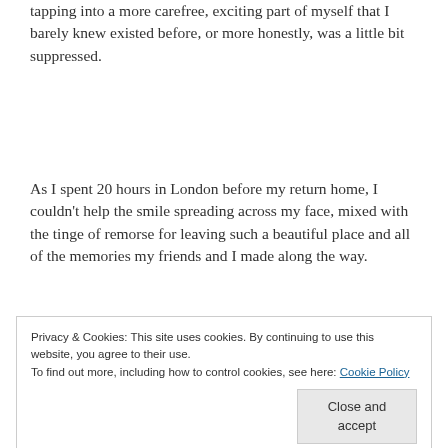tapping into a more carefree, exciting part of myself that I barely knew existed before, or more honestly, was a little bit suppressed.
As I spent 20 hours in London before my return home, I couldn't help the smile spreading across my face, mixed with the tinge of remorse for leaving such a beautiful place and all of the memories my friends and I made along the way.
Privacy & Cookies: This site uses cookies. By continuing to use this website, you agree to their use.
To find out more, including how to control cookies, see here: Cookie Policy
[Close and accept]
languages and cultures not only instills a level of